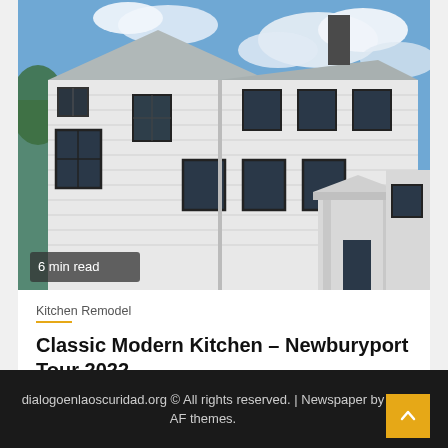[Figure (photo): Exterior photo of a large white colonial/farmhouse-style building with black-framed windows against a blue cloudy sky. A '6 min read' badge is overlaid at the bottom left of the image.]
Kitchen Remodel
Classic Modern Kitchen – Newburyport Tour 2022
3 weeks ago   Aaron M. Davis
dialogoenlaoscuridad.org © All rights reserved. | Newspaper by AF themes.